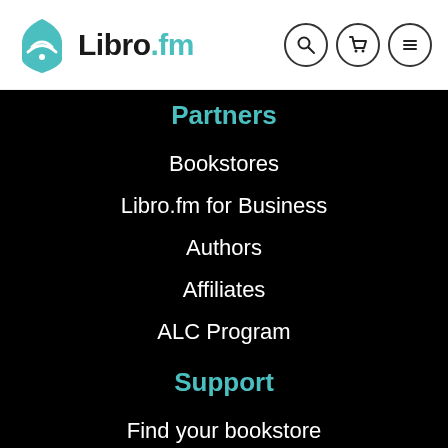[Figure (logo): Libro.fm logo with teal book/wifi icon and text 'Libro.fm' where '.fm' is teal]
Partners
Bookstores
Libro.fm for Business
Authors
Affiliates
ALC Program
Support
Find your bookstore
Help center
Contact us